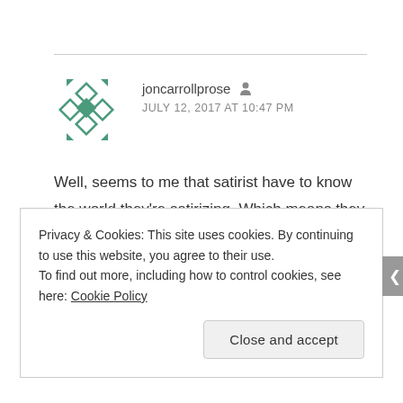[Figure (illustration): Geometric avatar icon with green diamond/rhombus pattern and arrow-like corner elements]
joncarrollprose  [user icon]
JULY 12, 2017 AT 10:47 PM
Well, seems to me that satirist have to know the world they're satirizing. Which means they participate in the common hypocrisy.
And thanks, as always.
Privacy & Cookies: This site uses cookies. By continuing to use this website, you agree to their use.
To find out more, including how to control cookies, see here: Cookie Policy
Close and accept